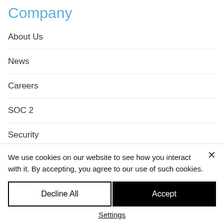Company
About Us
News
Careers
SOC 2
Security
Support
We use cookies on our website to see how you interact with it. By accepting, you agree to our use of such cookies.
Decline All
Accept
Settings